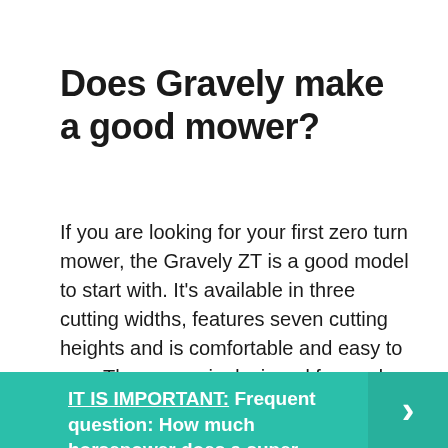Does Gravely make a good mower?
If you are looking for your first zero turn mower, the Gravely ZT is a good model to start with. It's available in three cutting widths, features seven cutting heights and is comfortable and easy to use. The mower is designed for yards up to 3 acres, depending on the size of the cutting deck.
IT IS IMPORTANT: Frequent question: How much horsepower does a super